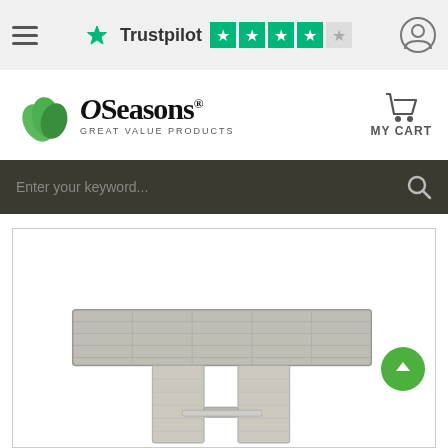[Figure (screenshot): Trustpilot rating bar with hamburger menu and user icon]
[Figure (logo): OSeasons - Great Value Products logo with green leaf icon]
[Figure (screenshot): MY CART icon with shopping cart]
[Figure (screenshot): Search bar with dark background and placeholder text 'Enter your keyword...']
[Figure (photo): Outdoor rattan dining table with grey polywood top shown partially, with green scroll-to-top button overlay]